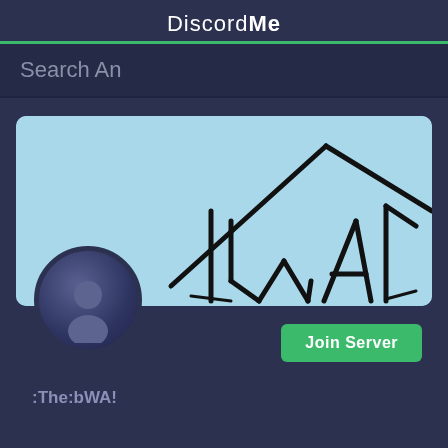DiscordMe
Search An
[Figure (screenshot): Discord server card showing a hand-drawn banner with the letters 'WA' in a house/building shape on a light blue background, with a default dark blue/purple avatar icon in the lower left and a green 'Join Server' button in the lower right]
Join Server
The:bWA! (partial text cut off)